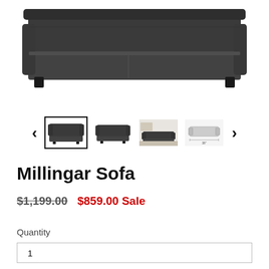[Figure (photo): Main product image of the Millingar Sofa - dark charcoal/black leather sofa shown from front angle]
[Figure (photo): Thumbnail gallery row with 4 sofa images and left/right navigation arrows. First thumbnail is selected with border.]
Millingar Sofa
$1,199.00  $859.00 Sale
Quantity
1